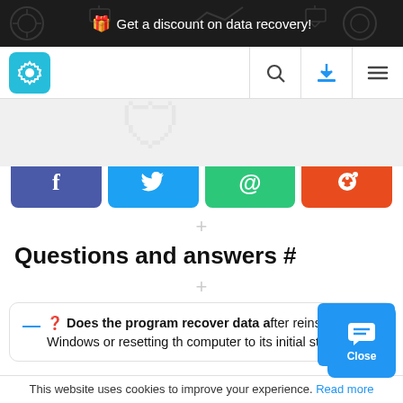🎁 Get a discount on data recovery!
[Figure (screenshot): Website navigation bar with teal settings gear logo icon, search icon, download icon, and hamburger menu icon]
[Figure (screenshot): Social sharing buttons: Facebook (blue), Twitter (light blue), Email (green), Reddit (orange)]
Questions and answers #
❓ Does the program recover data after reinstalling Windows or resetting the computer to its initial state?
This website uses cookies to improve your experience. Read more